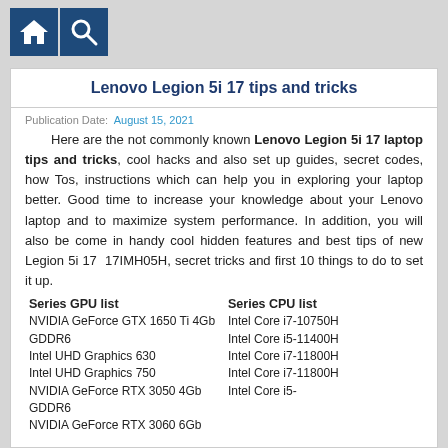[Figure (logo): Two dark blue icon boxes: a house/home icon and a magnifying glass/search icon]
Lenovo Legion 5i 17 tips and tricks
Publication Date: August 15, 2021
Here are the not commonly known Lenovo Legion 5i 17 laptop tips and tricks, cool hacks and also set up guides, secret codes, how Tos, instructions which can help you in exploring your laptop better. Good time to increase your knowledge about your Lenovo laptop and to maximize system performance. In addition, you will also be come in handy cool hidden features and best tips of new Legion 5i 17 17IMH05H, secret tricks and first 10 things to do to set it up.
| Series GPU list | Series CPU list |
| --- | --- |
| NVIDIA GeForce GTX 1650 Ti 4Gb GDDR6 | Intel Core i7-10750H |
| Intel UHD Graphics 630 | Intel Core i5-11400H |
| Intel UHD Graphics 750 | Intel Core i7-11800H |
| NVIDIA GeForce RTX 3050 4Gb GDDR6 | Intel Core i7-11800H |
| NVIDIA GeForce RTX 3060 6Gb | Intel Core i5- |